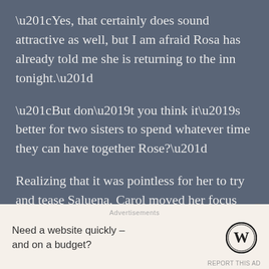“Yes, that certainly does sound attractive as well, but I am afraid Rosa has already told me she is returning to the inn tonight.”
“But don’t you think it’s better for two sisters to spend whatever time they can have together Rose?”
Realizing that it was pointless for her to try and tease Saluena, Carol moved her focus over to Rose-san.
“I have already been greatly spoiled by Oneesama today.”
But Rose-san answered the tease with a warm smile, not
Advertisements
Need a website quickly – and on a budget?